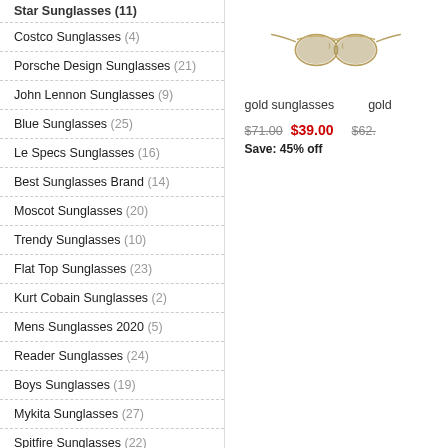Costco Sunglasses (4)
Porsche Design Sunglasses (21)
John Lennon Sunglasses (9)
Blue Sunglasses (25)
Le Specs Sunglasses (16)
Best Sunglasses Brand (14)
Moscot Sunglasses (20)
Trendy Sunglasses (10)
Flat Top Sunglasses (23)
Kurt Cobain Sunglasses (2)
Mens Sunglasses 2020 (5)
Reader Sunglasses (24)
Boys Sunglasses (19)
Mykita Sunglasses (27)
Spitfire Sunglasses (22)
[Figure (photo): Gold aviator sunglasses product photo on white background]
gold sunglasses   gold
$71.00  $39.00  Save: 45% off   $62.